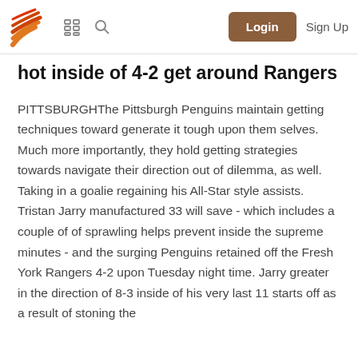Logo | Menu | Search | Login | Sign Up
hot inside of 4-2 get around Rangers
PITTSBURGHThe Pittsburgh Penguins maintain getting techniques toward generate it tough upon them selves. Much more importantly, they hold getting strategies towards navigate their direction out of dilemma, as well. Taking in a goalie regaining his All-Star style assists. Tristan Jarry manufactured 33 will save - which includes a couple of of sprawling helps prevent inside the supreme minutes - and the surging Penguins retained off the Fresh York Rangers 4-2 upon Tuesday night time. Jarry greater in the direction of 8-3 inside of his very last 11 starts off as a result of stoning the